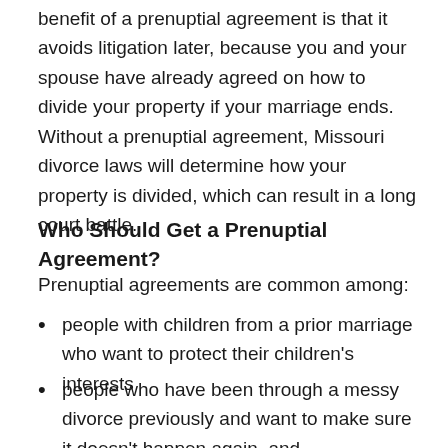benefit of a prenuptial agreement is that it avoids litigation later, because you and your spouse have already agreed on how to divide your property if your marriage ends. Without a prenuptial agreement, Missouri divorce laws will determine how your property is divided, which can result in a long court battle.
Who Should Get a Prenuptial Agreement?
Prenuptial agreements are common among:
people with children from a prior marriage who want to protect their children's interests
people who have been through a messy divorce previously and want to make sure it doesn't happen again, and